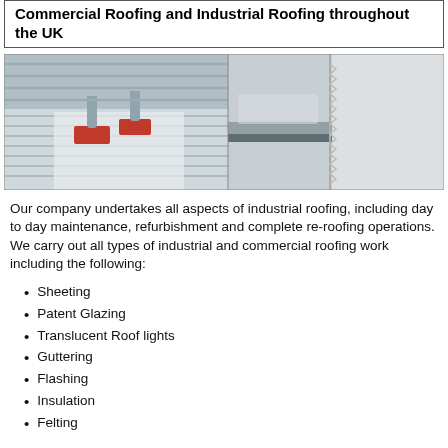Commercial Roofing and Industrial Roofing throughout the UK
[Figure (photo): Two photos side by side: left shows a flat industrial roof with metal ventilation stacks on red bases and corrugated metal sheeting; right shows a close-up of a roof edge/gutter junction between a white wall and flat roof membrane.]
Our company undertakes all aspects of industrial roofing, including day to day maintenance, refurbishment and complete re-roofing operations. We carry out all types of industrial and commercial roofing work including the following:
Sheeting
Patent Glazing
Translucent Roof lights
Guttering
Flashing
Insulation
Felting